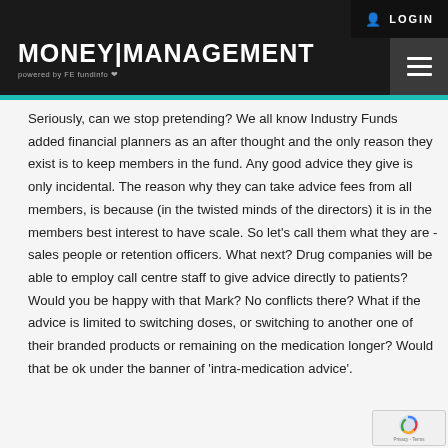LOGIN
MONEY|MANAGEMENT powered by FE fundinfo
Seriously, can we stop pretending? We all know Industry Funds added financial planners as an after thought and the only reason they exist is to keep members in the fund. Any good advice they give is only incidental. The reason why they can take advice fees from all members, is because (in the twisted minds of the directors) it is in the members best interest to have scale. So let's call them what they are - sales people or retention officers. What next? Drug companies will be able to employ call centre staff to give advice directly to patients? Would you be happy with that Mark? No conflicts there? What if the advice is limited to switching doses, or switching to another one of their branded products or remaining on the medication longer? Would that be ok under the banner of 'intra-medication advice'.